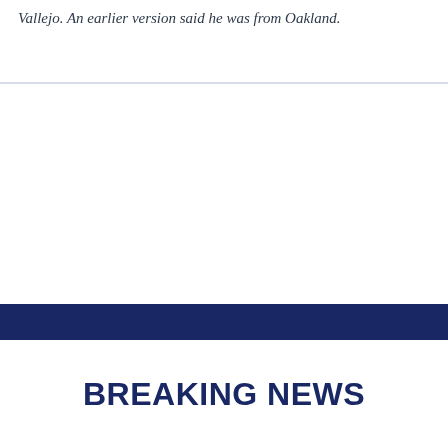Vallejo. An earlier version said he was from Oakland.
BREAKING NEWS